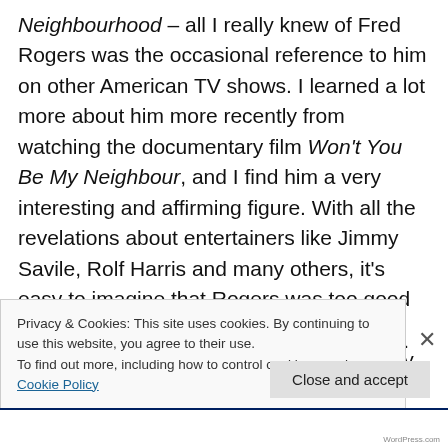Neighbourhood – all I really knew of Fred Rogers was the occasional reference to him on other American TV shows. I learned a lot more about him more recently from watching the documentary film Won't You Be My Neighbour, and I find him a very interesting and affirming figure. With all the revelations about entertainers like Jimmy Savile, Rolf Harris and many others, it's easy to imagine that Rogers was too good to be true and must have had some skeletons in his closet – but no, apparently his wholesome, optimistic, non-judgemental persona was entirely sincere, which is rather wonderful. So who better
Privacy & Cookies: This site uses cookies. By continuing to use this website, you agree to their use.
To find out more, including how to control cookies, see here: Cookie Policy
Close and accept